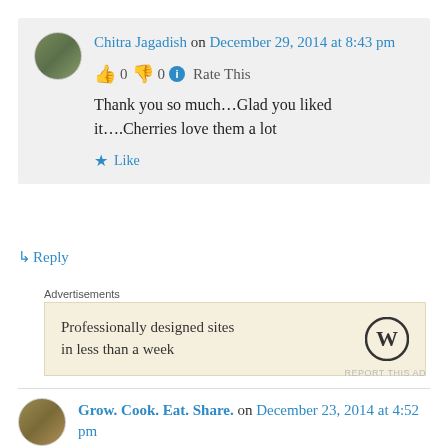Chitra Jagadish on December 29, 2014 at 8:43 pm
👍 0 👎 0 ℹ Rate This
Thank you so much…Glad you liked it….Cherries love them a lot
★ Like
↳ Reply
Advertisements
[Figure (screenshot): WordPress advertisement: Professionally designed sites in less than a week, with WordPress logo]
REPORT THIS AD
Grow. Cook. Eat. Share. on December 23, 2014 at 4:52 pm